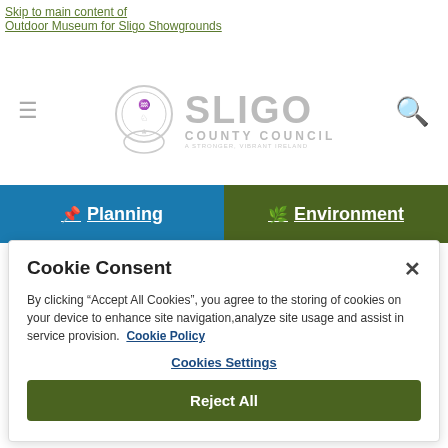Skip to main content of
Outdoor Museum for Sligo Showgrounds
[Figure (logo): Sligo County Council logo with crest and text]
Planning | Environment (navigation banner)
Cookie Consent
By clicking "Accept All Cookies", you agree to the storing of cookies on your device to enhance site navigation,analyze site usage and assist in service provision.  Cookie Policy
Cookies Settings
Reject All